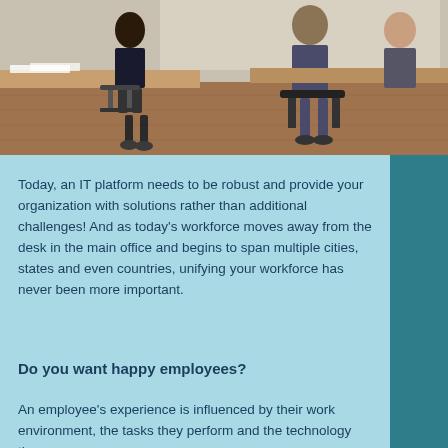[Figure (photo): Office scene showing people working at desks and chairs in a modern workspace, viewed from an angle with a wooden floor visible.]
Today, an IT platform needs to be robust and provide your organization with solutions rather than additional challenges! And as today’s workforce moves away from the desk in the main office and begins to span multiple cities, states and even countries, unifying your workforce has never been more important.
Do you want happy employees?
An employee’s experience is influenced by their work environment, the tasks they perform and the technology they